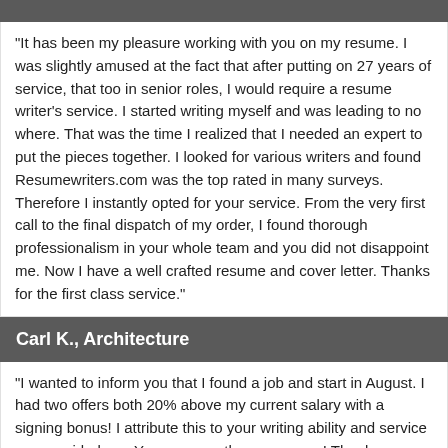"It has been my pleasure working with you on my resume. I was slightly amused at the fact that after putting on 27 years of service, that too in senior roles, I would require a resume writer's service. I started writing myself and was leading to no where. That was the time I realized that I needed an expert to put the pieces together. I looked for various writers and found Resumewriters.com was the top rated in many surveys. Therefore I instantly opted for your service. From the very first call to the final dispatch of my order, I found thorough professionalism in your whole team and you did not disappoint me. Now I have a well crafted resume and cover letter. Thanks for the first class service."
Carl K., Architecture
"I wanted to inform you that I found a job and start in August. I had two offers both 20% above my current salary with a signing bonus! I attribute this to your writing ability and service you provided me. You were worth every penny! Thanks so much and feel free to use me as a reference. By the way, it took me a total time of 9 days, from when I started looking to the day I put in my 2 weeks notice."